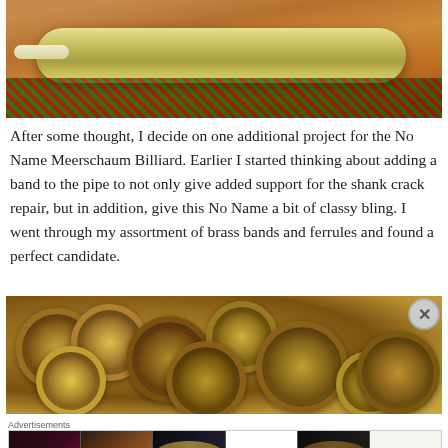[Figure (photo): Photo of a meerschaum billiard pipe stem, yellowish-green colored, resting on a red patterned fabric background]
After some thought, I decide on one additional project for the No Name Meerschaum Billiard.  Earlier I started thinking about adding a band to the pipe to not only give added support for the shank crack repair, but in addition,  give this No Name a bit of classy bling.  I went through my assortment of brass bands and ferrules and found a perfect candidate.
[Figure (photo): Photo of a collection of brass bands and ferrules, circular metal rings in antique brass/bronze finish, piled together]
Advertisements
[Figure (photo): Advertisement banner showing makeup imagery (lips, brush, eyes, ULTA logo) with SHOP NOW call to action]